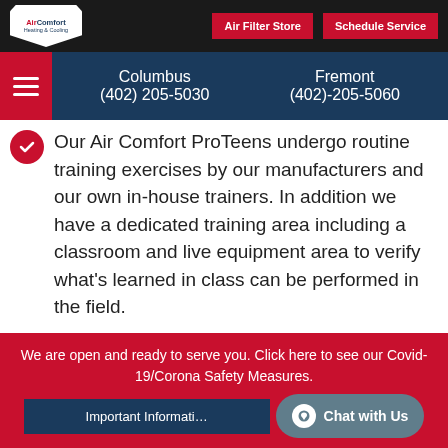AirComfort Heating & Cooling | Air Filter Store | Schedule Service
Columbus (402) 205-5030 | Fremont (402)-205-5060
Our Air Comfort ProTeens undergo routine training exercises by our manufacturers and our own in-house trainers. In addition we have a dedicated training area including a classroom and live equipment area to verify what's learned in class can be performed in the field.
As of the writing of this we are the only contractor in the state that offers a state-of-
We are open and ready to serve you. Click here to see our Covid-19/Corona Safety Measures.
Important Information | Chat with Us